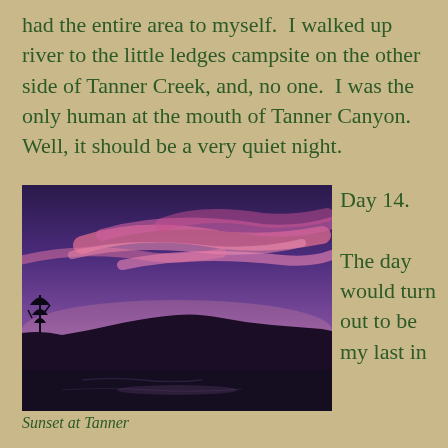had the entire area to myself.  I walked up river to the little ledges campsite on the other side of Tanner Creek, and, no one.  I was the only human at the mouth of Tanner Canyon.  Well, it should be a very quiet night.
[Figure (photo): Sunset photo at Tanner showing dramatic pink and purple clouds streaking across the sky above a dark silhouetted canyon ridge and river reflection below.]
Sunset at Tanner
Day 14.

The day would turn out to be my last in